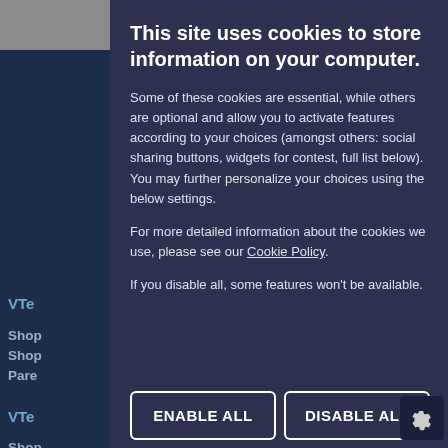This site uses cookies to store information on your computer.
Some of these cookies are essential, while others are optional and allow you to activate features according to your choices (amongst others: social sharing buttons, widgets for contest, full list below). You may further personalize your choices using the below settings.
For more detailed information about the cookies we use, please see our Cookie Policy.
If you disable all, some features won't be available.
ENABLE ALL
DISABLE ALL